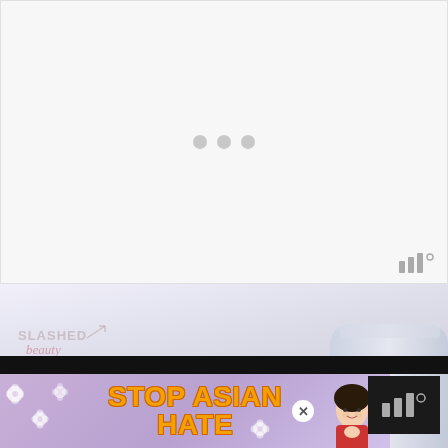[Figure (screenshot): Loading state panel with three gray dots centered on a light gray/white background, with a Millward Brown logo in the bottom right corner]
[Figure (photo): Photo of chrome/metallic beauty or cosmetic items on a light lavender background, with Slashed Beauty logo in top left. An advertisement banner overlays the bottom showing 'STOP ASIAN HATE' in orange Impact font on a purple floral background with an anime-style character, a close button, and a black bar above it with a Millward Brown logo on the right.]